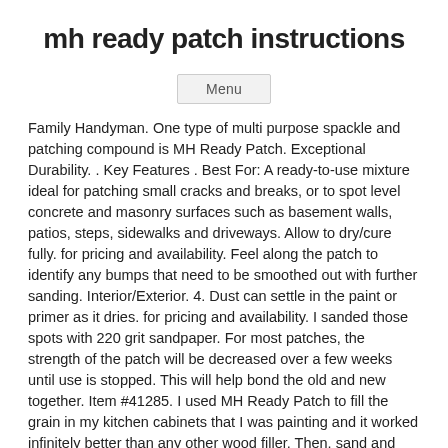mh ready patch instructions
Menu
Family Handyman. One type of multi purpose spackle and patching compound is MH Ready Patch. Exceptional Durability. . Key Features . Best For: A ready-to-use mixture ideal for patching small cracks and breaks, or to spot level concrete and masonry surfaces such as basement walls, patios, steps, sidewalks and driveways. Allow to dry/cure fully. for pricing and availability. Feel along the patch to identify any bumps that need to be smoothed out with further sanding. Interior/Exterior. 4. Dust can settle in the paint or primer as it dries. for pricing and availability. I sanded those spots with 220 grit sandpaper. For most patches, the strength of the patch will be decreased over a few weeks until use is stopped. This will help bond the old and new together. Item #41285. I used MH Ready Patch to fill the grain in my kitchen cabinets that I was painting and it worked infinitely better than any other wood filler. Then, sand and finish the project. Once it’s patched, then you’re able to paint it, sand it, and finish it to your specifications. Remember, Ready Patch is full bodied and heavy duty, while Ready Patch Lite is ideal for most quick repairs. 21. Maternity services at two Nottingham hospitals have been downgraded to “inadequate” after inspectors found “several serious concerns”. When applying latex or oil